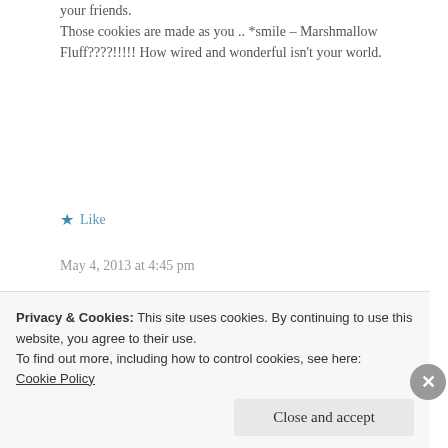your friends.
Those cookies are made as you .. *smile – Marshmallow Fluff????!!!!! How wired and wonderful isn't your world.
★ Like
May 4, 2013 at 4:45 pm
« REPLY
[Figure (photo): Circular avatar photo of a blonde woman smiling, with a green circular border]
Privacy & Cookies: This site uses cookies. By continuing to use this website, you agree to their use.
To find out more, including how to control cookies, see here:
Cookie Policy
Close and accept